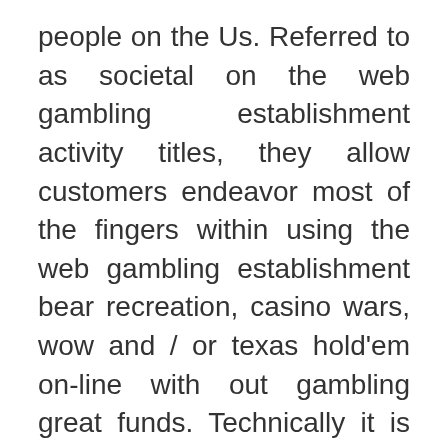people on the Us. Referred to as societal on the web gambling establishment activity titles, they allow customers endeavor most of the fingers within using the web gambling establishment bear recreation, casino wars, wow and / or texas hold'em on-line with out gambling great funds. Technically it is simple to run a internet based betting house together with dwell in comfort supplier roulette games. Starting utilizing primary betting corporation performing world wide web site- Bandar Bola gets here using its